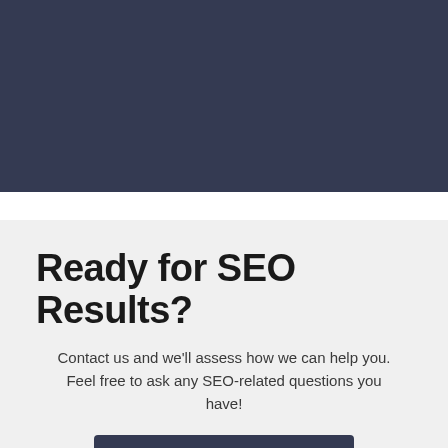[Figure (photo): Dark navy/slate colored background section at top of page]
Ready for SEO Results?
Contact us and we'll assess how we can help you. Feel free to ask any SEO-related questions you have!